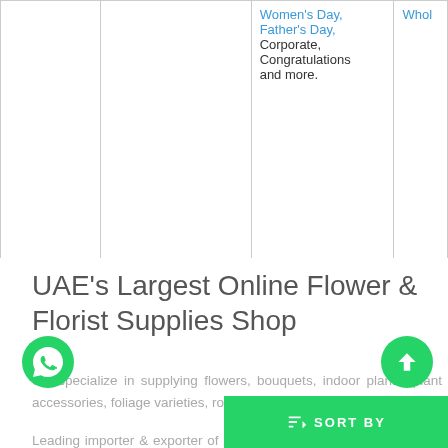|  |  | Women's Day, Father's Day, Corporate, Congratulations and more. | Whol |
UAE's Largest Online Flower & Florist Supplies Shop
We specialize in supplying flowers, bouquets, indoor plants, plant accessories, foliage varieties, roses, wedding and event flowers.
Leading importer & exporter of fresh-cut flowers and florist supplies to trade and the public. We offer nationwide UAE delivery.
FAQ for Mother's Day Flowers & Gifts